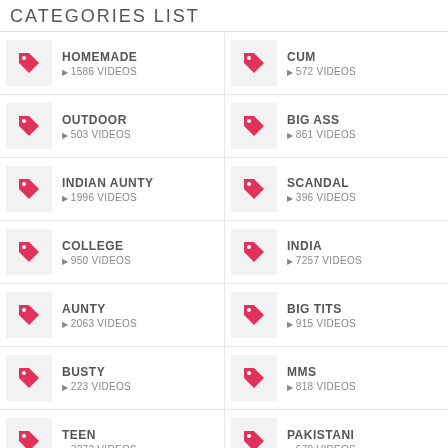CATEGORIES LIST
HOMEMADE · 1586 VIDEOS
CUM · 572 VIDEOS
OUTDOOR · 503 VIDEOS
BIG ASS · 861 VIDEOS
INDIAN AUNTY · 1996 VIDEOS
SCANDAL · 396 VIDEOS
COLLEGE · 950 VIDEOS
INDIA · 7257 VIDEOS
AUNTY · 2063 VIDEOS
BIG TITS · 915 VIDEOS
BUSTY · 223 VIDEOS
MMS · 818 VIDEOS
TEEN · 3272 VIDEOS
PAKISTANI · 679 VIDEOS